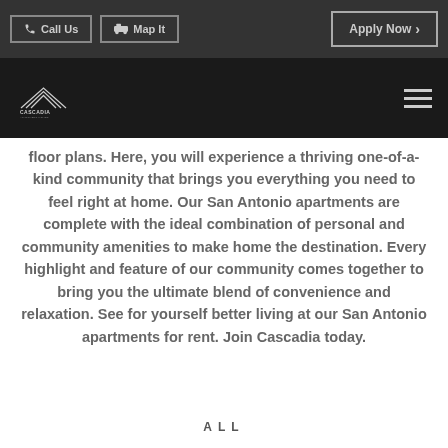Call Us | Map It | Apply Now
[Figure (logo): Cascadia apartment homes logo with stylized roof/wave icon]
floor plans. Here, you will experience a thriving one-of-a-kind community that brings you everything you need to feel right at home. Our San Antonio apartments are complete with the ideal combination of personal and community amenities to make home the destination. Every highlight and feature of our community comes together to bring you the ultimate blend of convenience and relaxation. See for yourself better living at our San Antonio apartments for rent. Join Cascadia today.
ALL